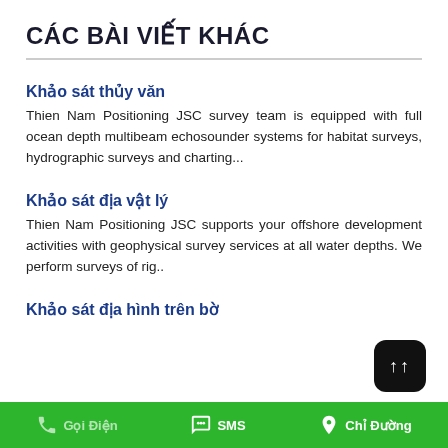CÁC BÀI VIẾT KHÁC
Khảo sát thủy văn
Thien Nam Positioning JSC survey team is equipped with full ocean depth multibeam echosounder systems for habitat surveys, hydrographic surveys and charting...
Khảo sát địa vật lý
Thien Nam Positioning JSC supports your offshore development activities with geophysical survey services at all water depths. We perform surveys of rig..
Khảo sát địa hình trên bờ
Gọi Điện   SMS   Chỉ Đường